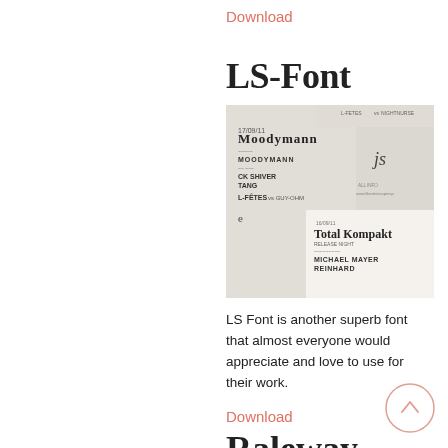Download
LS-Font
[Figure (photo): Photo of printed event flyers/tickets showing custom LS-Font typeface in use, with text including 'Moodymann', 'MOODYMANN', 'CK SHIVER', 'Total Kompakt', 'MICHAEL MAYER', 'REINHARD', 'GUY-OHM', 'L-FETES' and decorative wavy underlines]
LS Font is another superb font that almost everyone would appreciate and love to use for their work.
Download
Raleway